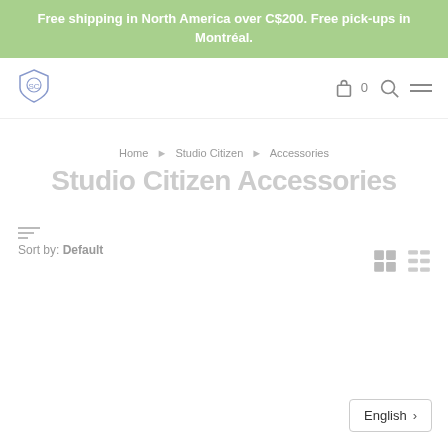Free shipping in North America over C$200. Free pick-ups in Montréal.
[Figure (logo): Studio Citizen shield logo in blue/purple tones]
Home › Studio Citizen › Accessories
Studio Citizen Accessories
Sort by: Default
English